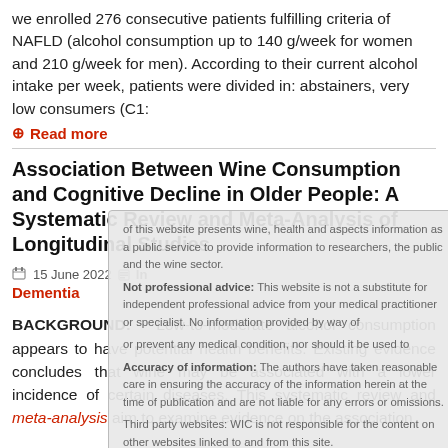we enrolled 276 consecutive patients fulfilling criteria of NAFLD (alcohol consumption up to 140 g/week for women and 210 g/week for men). According to their current alcohol intake per week, patients were divided in: abstainers, very low consumers (C1:
Read more
of this website presents wine, health and aspects information as a public service to provide information to researchers, the public and the wine sector. Not professional advice: This website is not a substitute for independent professional advice from your medical practitioner or specialist. No information provided by way of prevent any medical condition, nor should it be used for or prevent any medical condition, nor should it be used to Accuracy of information: The authors have taken reasonable care in ensuring the accuracy of the information herein at the time of publication and are not liable for any errors or omissions. Third party websites: WIC is not responsible for the content on other websites linked to and from this site. I agree
Association Between Wine Consumption and Cognitive Decline in Older People: A Systematic Review and Meta-Analysis of Longitudinal Studies
15 June 2022  In
Dementia
BACKGROUND: Low-to-moderate alcohol consumption appears to have potential health benefits. Existing evidence concludes that wine may be associated with a lower incidence of certain diseases. This systematic review and meta-analysis aim to examine evidence on the association